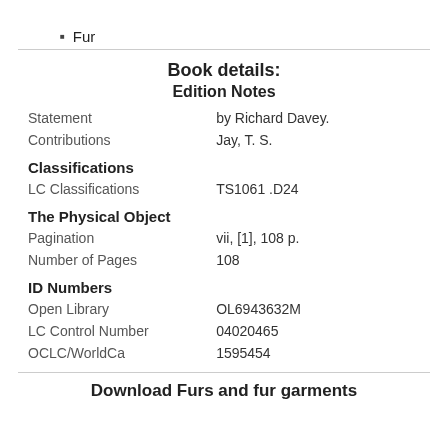Fur
Book details:
Edition Notes
| Statement | by Richard Davey. |
| Contributions | Jay, T. S. |
| Classifications |  |
| LC Classifications | TS1061 .D24 |
| The Physical Object |  |
| Pagination | vii, [1], 108 p. |
| Number of Pages | 108 |
| ID Numbers |  |
| Open Library | OL6943632M |
| LC Control Number | 04020465 |
| OCLC/WorldCa | 1595454 |
Download Furs and fur garments